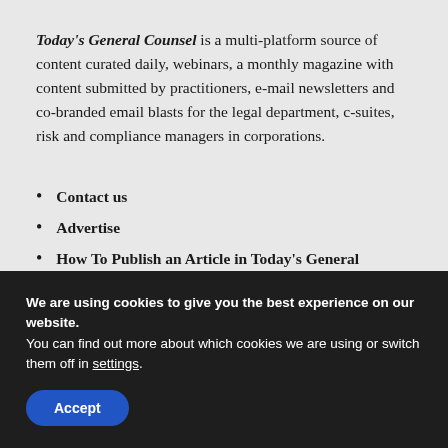Today's General Counsel is a multi-platform source of content curated daily, webinars, a monthly magazine with content submitted by practitioners, e-mail newsletters and co-branded email blasts for the legal department, c-suites, risk and compliance managers in corporations.
Contact us
Advertise
How To Publish an Article in Today's General
We are using cookies to give you the best experience on our website.
You can find out more about which cookies we are using or switch them off in settings.